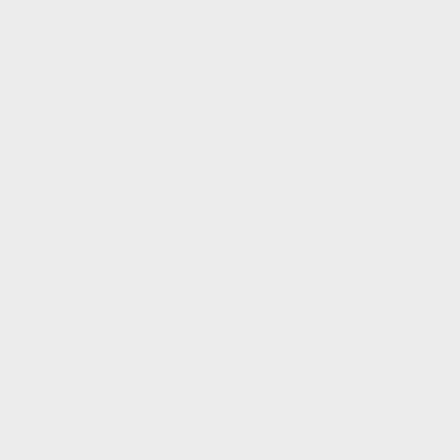Alternative_Calibration_...
HIFI_SBR_Summary_V...
calibration_hifi_stdw_20...
HIFI_Calibration_Releas...
HIFI_SBR_Cookbook_V...
spatial_response_frame...
hebCorrectionModels_H...
hebCorrection_calTree_...
hebCorrection_external...
HIFISubbands.pdf
HifiBeamReleaseNote_...
16293_SIS.txt
Orion_S_baselined_485...